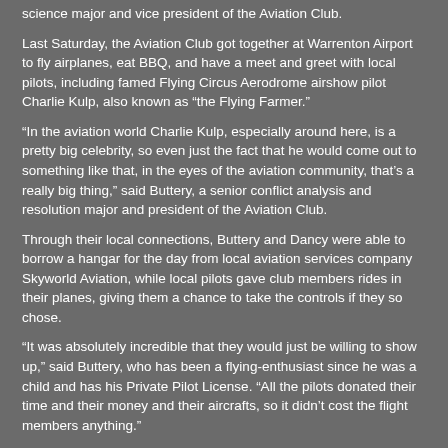science major and vice president of the Aviation Club.
Last Saturday, the Aviation Club got together at Warrenton Airport to fly airplanes, eat BBQ, and have a meet and greet with local pilots, including famed Flying Circus Aerodrome airshow pilot Charlie Kulp, also known as "the Flying Farmer."
“In the aviation world Charlie Kulp, especially around here, is a pretty big celebrity, so even just the fact that he would come out to something like that, in the eyes of the aviation community, that’s a really big thing,” said Buttery, a senior conflict analysis and resolution major and president of the Aviation Club.
Through their local connections, Buttery and Dancy were able to borrow a hangar for the day from local aviation services company Skyworld Aviation, while local pilots gave club members rides in their planes, giving them a chance to take the controls if they so chose.
“It was absolutely incredible that they would just be willing to show up,” said Buttery, who has been a flying-enthusiast since he was a child and has his Private Pilot License. “All the pilots donated their time and their money and their aircrafts, so it didn’t cost the flight members anything.”
Members of the Flying Circus, a Bealeton, Va. group that performs wing walking, parachuting and acrobatic acts, offered Aviation Club members free rides in their planes — a service that normally costs hundreds of dollars according to Buttery and Dancy.
“I’ve looked at [their] website and what they charge for a ride at the Flying Circus and what they were just giving away was absolutely amazing,” said Buttery.